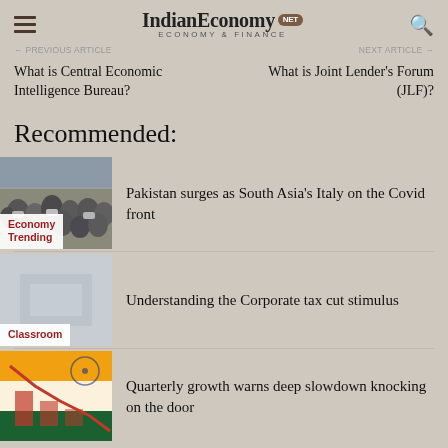IndianEconomy.NET — ECONOMY & FINANCE
← PREVIOUS ARTICLE    NEXT ARTICLE →
What is Central Economic Intelligence Bureau?
What is Joint Lender's Forum (JLF)?
Recommended:
[Figure (photo): Crowd of people with masks, Economy Trending label]
Pakistan surges as South Asia's Italy on the Covid front
[Figure (photo): Faded light blue background image, Classroom label]
Understanding the Corporate tax cut stimulus
[Figure (photo): Orange and blue graphic with Indian flag elements]
Quarterly growth warns deep slowdown knocking on the door